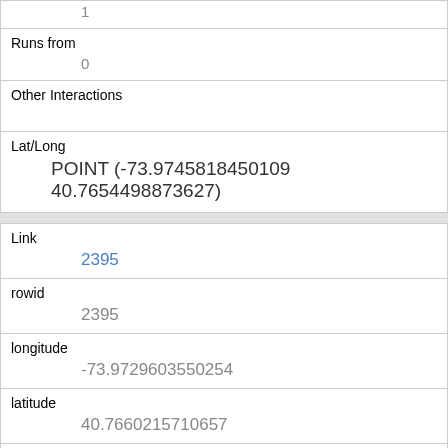| (unlabeled) | 1 |
| Runs from | 0 |
| Other Interactions |  |
| Lat/Long | POINT (-73.9745818450109 40.7654498873627) |
| Link | 2395 |
| rowid | 2395 |
| longitude | -73.9729603550254 |
| latitude | 40.7660215710657 |
| Unique Squirrel ID | 3H-AM-1008-06 |
| Hectare | 03H |
| Shift |  |